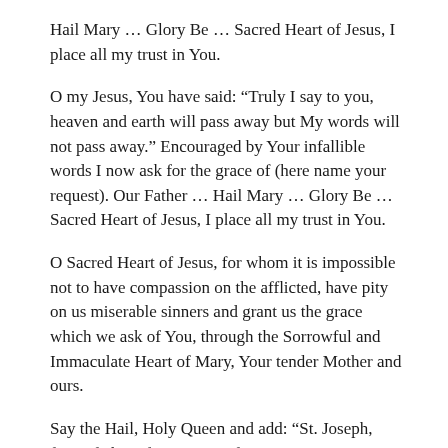Hail Mary … Glory Be … Sacred Heart of Jesus, I place all my trust in You.
O my Jesus, You have said: “Truly I say to you, heaven and earth will pass away but My words will not pass away.” Encouraged by Your infallible words I now ask for the grace of (here name your request). Our Father … Hail Mary … Glory Be … Sacred Heart of Jesus, I place all my trust in You.
O Sacred Heart of Jesus, for whom it is impossible not to have compassion on the afflicted, have pity on us miserable sinners and grant us the grace which we ask of You, through the Sorrowful and Immaculate Heart of Mary, Your tender Mother and ours.
Say the Hail, Holy Queen and add: “St. Joseph, foster father of Jesus, pray for us.”